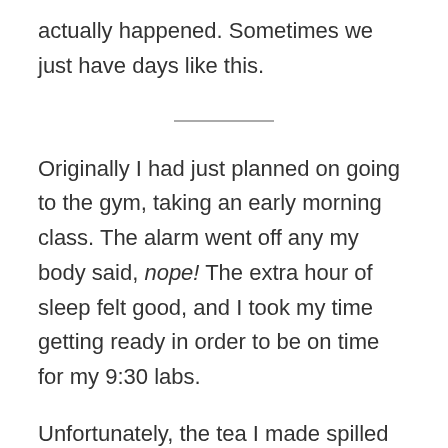actually happened. Sometimes we just have days like this.
Originally I had just planned on going to the gym, taking an early morning class. The alarm went off any my body said, nope! The extra hour of sleep felt good, and I took my time getting ready in order to be on time for my 9:30 labs.
Unfortunately, the tea I made spilled all over my car’s cup holder and drowned my ProBar, and it turned out my 9:30 labs – which I walked through the door at 9:31 for – were actually